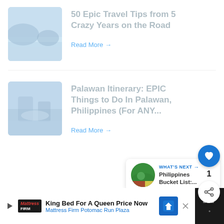[Figure (photo): Thumbnail image of a scenic travel location with blue tones, mountains and water]
50 Epic Travel Tips from 5 Crazy Years on the Road
Read More →
[Figure (photo): Thumbnail image of Palawan Philippines travel scene with water and cliffs, blue tones]
Palawan Itinerary: EPIC Things to Do In Palawan, Philippines (For ANY...
Read More →
[Figure (infographic): Floating action buttons: heart/like button (blue circle), count of 1, share button (white circle with share icon)]
[Figure (screenshot): What's Next panel: thumbnail of Philippines jungle/flag scene, label WHAT'S NEXT with arrow, title Philippines Bucket List:...]
King Bed For A Queen Price Now
Mattress Firm Potomac Run Plaza